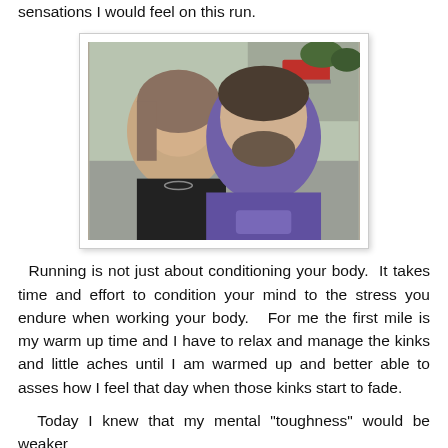sensations I would feel on this run.
[Figure (photo): A couple taking a selfie outdoors. A woman with light hair on the left and a man wearing a purple hoodie on the right. Background shows a street with a red truck and trees.]
Running is not just about conditioning your body.  It takes time and effort to condition your mind to the stress you endure when working your body.   For me the first mile is my warm up time and I have to relax and manage the kinks and little aches until I am warmed up and better able to asses how I feel that day when those kinks start to fade.
Today I knew that my mental "toughness" would be weaker